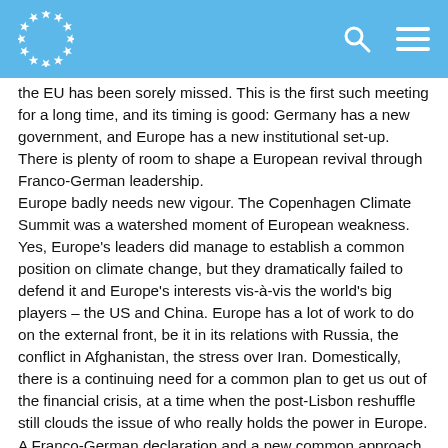EU header bar with logo, search icon, and menu icon
the EU has been sorely missed. This is the first such meeting for a long time, and its timing is good: Germany has a new government, and Europe has a new institutional set-up. There is plenty of room to shape a European revival through Franco-German leadership.
Europe badly needs new vigour. The Copenhagen Climate Summit was a watershed moment of European weakness. Yes, Europe's leaders did manage to establish a common position on climate change, but they dramatically failed to defend it and Europe's interests vis-à-vis the world's big players – the US and China. Europe has a lot of work to do on the external front, be it in its relations with Russia, the conflict in Afghanistan, the stress over Iran. Domestically, there is a continuing need for a common plan to get us out of the financial crisis, at a time when the post-Lisbon reshuffle still clouds the issue of who really holds the power in Europe.
A Franco-German declaration and a new common approach will not solve these problems, but it would be an important step towards Europe standing up for itself again.
So will the opportunity be taken? The real question ahead of this Paris meeting is whether France and Germany will take it